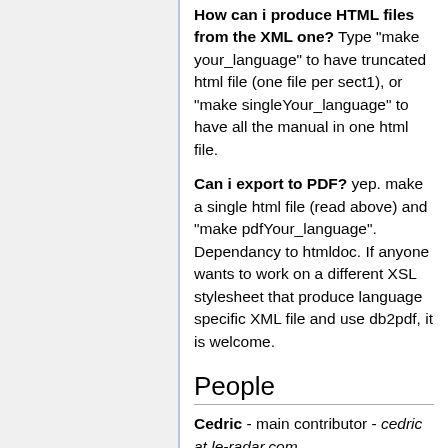How can i produce HTML files from the XML one? Type "make your_language" to have truncated html file (one file per sect1), or "make singleYour_language" to have all the manual in one html file.
Can i export to PDF? yep. make a single html file (read above) and "make pdfYour_language". Dependancy to htmldoc. If anyone wants to work on a different XSL stylesheet that produce language specific XML file and use db2pdf, it is welcome.
People
Cedric - main contributor - cedric at le-radar.com
John - Author and French/British translation